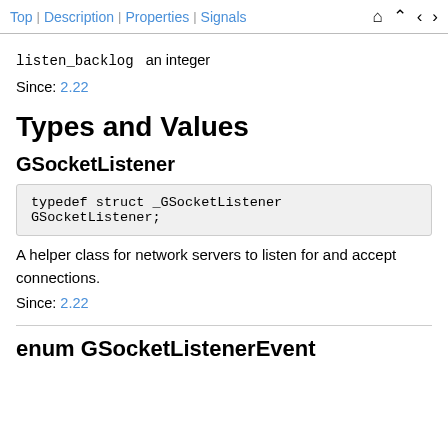Top | Description | Properties | Signals
listen_backlog   an integer
Since: 2.22
Types and Values
GSocketListener
typedef struct _GSocketListener GSocketListener;
A helper class for network servers to listen for and accept connections.
Since: 2.22
enum GSocketListenerEvent